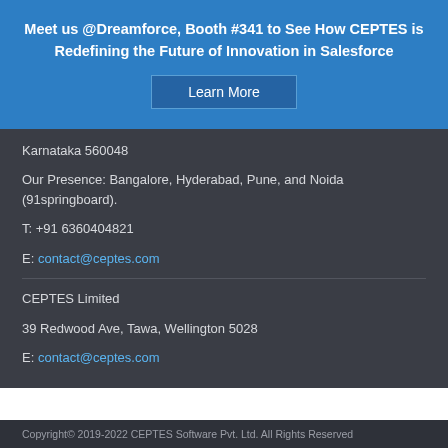Meet us @Dreamforce, Booth #341 to See How CEPTES is Redefining the Future of Innovation in Salesforce
Learn More
Karnataka 560048
Our Presence: Bangalore, Hyderabad, Pune, and Noida (91springboard).
T: +91 6360404821
E: contact@ceptes.com
CEPTES Limited
39 Redwood Ave, Tawa, Wellington 5028
E: contact@ceptes.com
Copyright© 2019-2022 CEPTES Software Pvt. Ltd. All Rights Reserved